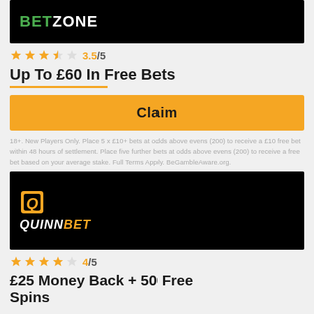[Figure (logo): BetZone logo on black background]
3.5/5
Up To £60 In Free Bets
Claim
18+. New Players Only. Place 5 x £10+ bets at odds above evens (200) to receive a £10 free bet within 48 hours of settlement. Place five further bets at odds above evens (200) to receive a free bet based on your average stake. Full Terms Apply. BeGambleAware.org.
[Figure (logo): QuinnBet logo on black background]
4/5
£25 Money Back + 50 Free Spins